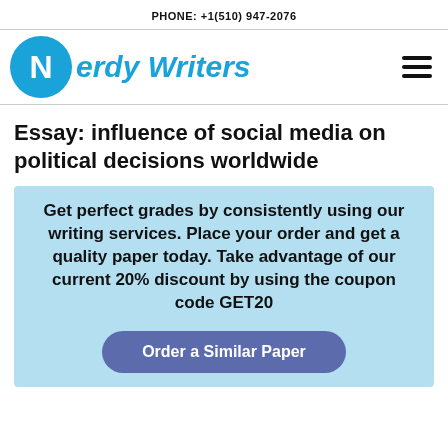PHONE: +1(510) 947-2076
[Figure (logo): Nerdy Writers logo: blue circle with white N, followed by italic blue text 'erdy Writers', and hamburger menu icon on the right]
Essay: influence of social media on political decisions worldwide
Get perfect grades by consistently using our writing services. Place your order and get a quality paper today. Take advantage of our current 20% discount by using the coupon code GET20
Order a Similar Paper